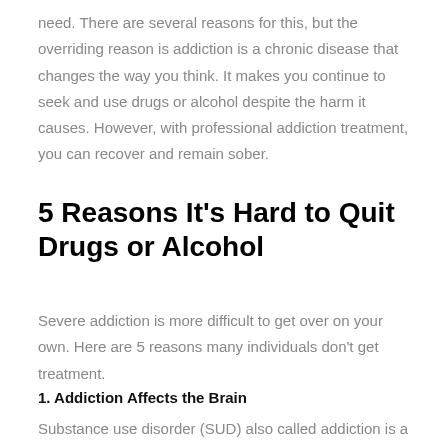need. There are several reasons for this, but the overriding reason is addiction is a chronic disease that changes the way you think. It makes you continue to seek and use drugs or alcohol despite the harm it causes. However, with professional addiction treatment, you can recover and remain sober.
5 Reasons It's Hard to Quit Drugs or Alcohol
Severe addiction is more difficult to get over on your own. Here are 5 reasons many individuals don't get treatment.
1. Addiction Affects the Brain
Substance use disorder (SUD) also called addiction is a